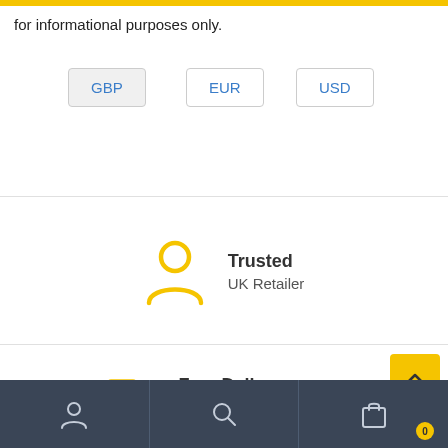for informational purposes only.
GBP
EUR
USD
Trusted
UK Retailer
Free Delivery
UK Wide
User icon | Search icon | Bag icon (0)